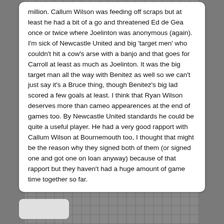million. Callum Wilson was feeding off scraps but at least he had a bit of a go and threatened Ed de Gea once or twice where Joelinton was anonymous (again). I'm sick of Newcastle United and big 'target men' who couldn't hit a cow's arse with a banjo and that goes for Carroll at least as much as Joelinton. It was the big target man all the way with Benitez as well so we can't just say it's a Bruce thing, though Benitez's big lad scored a few goals at least. I think that Ryan Wilson deserves more than cameo appearences at the end of games too. By Newcastle United standards he could be quite a useful player. He had a very good rapport with Callum Wilson at Bournemouth too, I thought that might be the reason why they signed both of them (or signed one and got one on loan anyway) because of that rapport but they haven't had a huge amount of game time together so far.